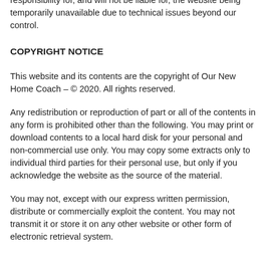Every effort is made to keep the website up and running smoothly. However, Ournewhomecoach.com.au takes no responsibility for, and will not be liable for, the website being temporarily unavailable due to technical issues beyond our control.
COPYRIGHT NOTICE
This website and its contents are the copyright of Our New Home Coach – © 2020. All rights reserved.
Any redistribution or reproduction of part or all of the contents in any form is prohibited other than the following. You may print or download contents to a local hard disk for your personal and non-commercial use only. You may copy some extracts only to individual third parties for their personal use, but only if you acknowledge the website as the source of the material.
You may not, except with our express written permission, distribute or commercially exploit the content. You may not transmit it or store it on any other website or other form of electronic retrieval system.